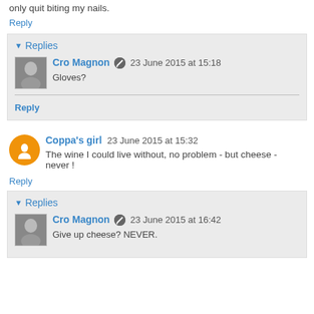only quit biting my nails.
Reply
Replies
Cro Magnon  23 June 2015 at 15:18
Gloves?
Reply
Coppa's girl  23 June 2015 at 15:32
The wine I could live without, no problem - but cheese - never !
Reply
Replies
Cro Magnon  23 June 2015 at 16:42
Give up cheese? NEVER.